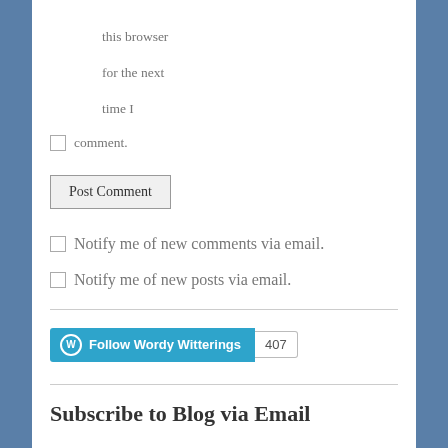this browser
for the next
time I
comment.
Post Comment
Notify me of new comments via email.
Notify me of new posts via email.
[Figure (other): Follow Wordy Witterings button with 407 followers count]
Subscribe to Blog via Email